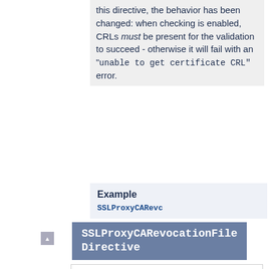this directive, the behavior has been changed: when checking is enabled, CRLs must be present for the validation to succeed - otherwise it will fail with an "unable to get certificate CRL" error.
Example
SSLProxyCARevc
SSLProxyCARevocationFile Directive
Description: File of concatenated PEM-encoded CA CRLs for Remote